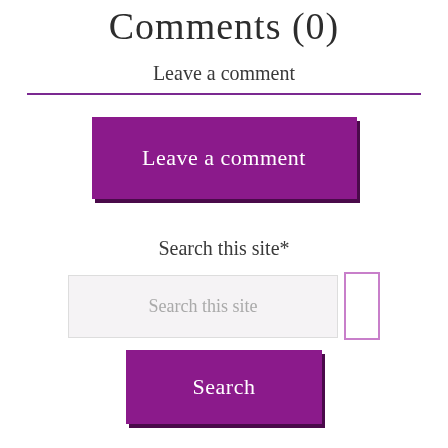Comments (0)
Leave a comment
Leave a comment
Search this site*
Search this site
Search